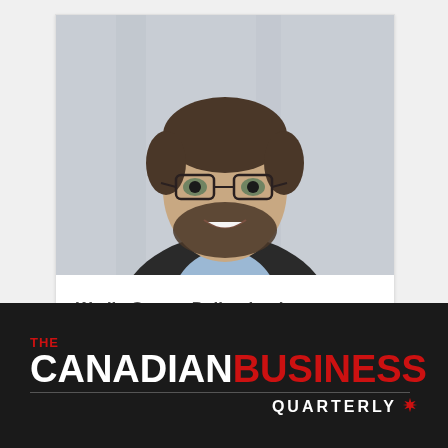[Figure (photo): Professional headshot of a smiling man with glasses and a beard wearing a dark suit jacket over a light blue shirt, photographed against a light architectural background.]
Wedia Group: Delivering better content experiences
[Figure (logo): The Canadian Business Quarterly logo — white 'CANADIAN' and red 'BUSINESS' in bold large type on a dark/black background, with 'THE' in red above and 'QUARTERLY' with a maple leaf icon below, separated by a horizontal rule.]